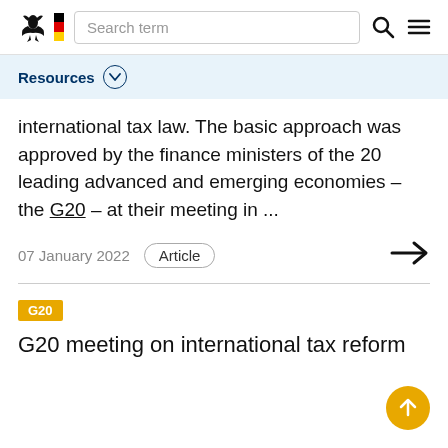Search term
Resources
international tax law. The basic approach was approved by the finance ministers of the 20 leading advanced and emerging economies – the G20 – at their meeting in ...
07 January 2022   Article
G20
G20 meeting on international tax reform